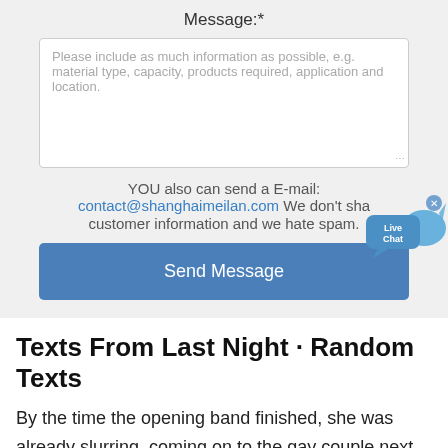Message:*
[Figure (screenshot): Text area input field with placeholder text: Please include as much information as possible, e.g. material type, capacity, products required, application and location.]
YOU also can send a E-mail:
contact@shanghaimeilan.com We don't share customer information and we hate spam.
[Figure (illustration): Live Chat bubble widget with blue speech bubbles and 'Live Chat' text, with an x close button]
Send Message
Texts From Last Night · Random Texts
By the time the opening band finished, she was already slurring, coming on to the gay couple next to us, and waving her panties in the air. Fav 3 1471 1046 share tweet